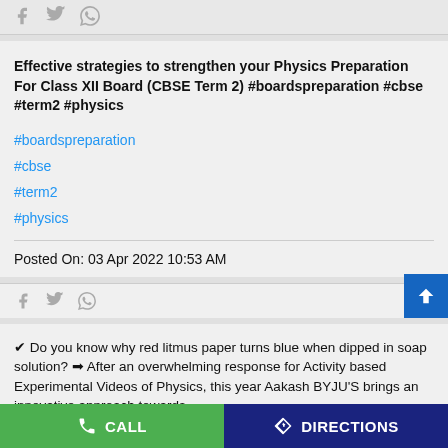[Figure (screenshot): Social share icons (Facebook, Twitter, WhatsApp) at top]
Effective strategies to strengthen your Physics Preparation For Class XII Board (CBSE Term 2) #boardspreparation #cbse #term2 #physics
#boardspreparation
#cbse
#term2
#physics
Posted On: 03 Apr 2022 10:53 AM
[Figure (screenshot): Social share icons (Facebook, Twitter, WhatsApp) at bottom of card with scroll-to-top button]
✔ Do you know why red litmus paper turns blue when dipped in soap solution? ➡ After an overwhelming response for Activity based Experimental Videos of Physics, this year Aakash BYJU'S brings an innovative approach towards
CALL   DIRECTIONS